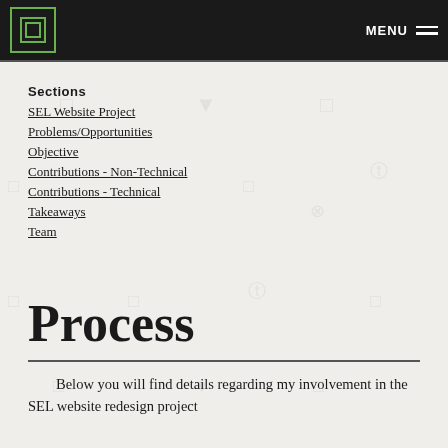MENU
Sections
SEL Website Project
Problems/Opportunities
Objective
Contributions - Non-Technical
Contributions - Technical
Takeaways
Team
Process
Below you will find details regarding my involvement in the SEL website redesign project